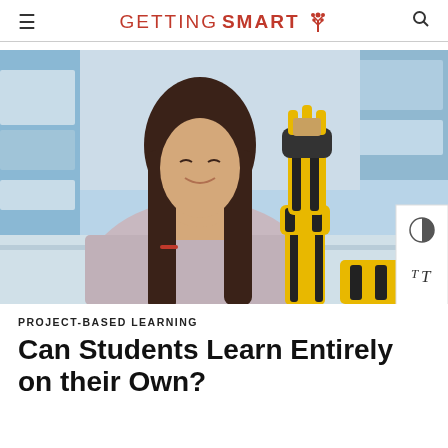GETTING SMART
[Figure (photo): A teenage girl with long dark hair smiles while examining a yellow and black robotic arm/hand in what appears to be a science classroom with blue shelving in the background.]
PROJECT-BASED LEARNING
Can Students Learn Entirely on their Own?